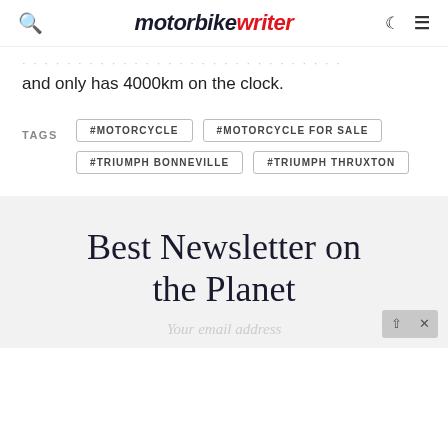motorbike writer
and only has 4000km on the clock.
TAGS  #MOTORCYCLE  #MOTORCYCLE FOR SALE  #TRIUMPH BONNEVILLE  #TRIUMPH THRUXTON
Best Newsletter on the Planet
Your email address